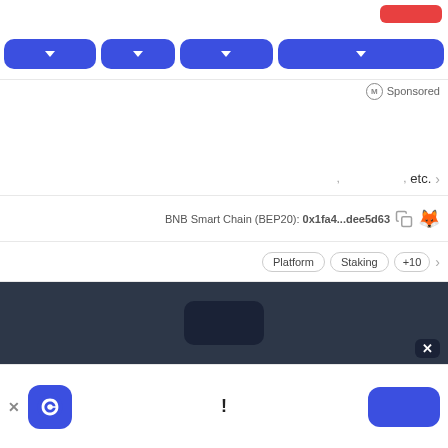[Figure (screenshot): CoinMarketCap UI screenshot showing filter buttons, sponsored label, BNB Smart Chain contract address, tags row, dark overlay section, and bottom app banner]
BNB Smart Chain (BEP20): 0x1fa4...dee5d63
Platform  Staking  +10
Sponsored
etc.
!